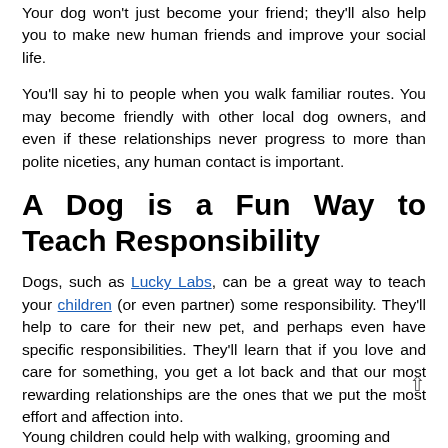Your dog won't just become your friend; they'll also help you to make new human friends and improve your social life.
You'll say hi to people when you walk familiar routes. You may become friendly with other local dog owners, and even if these relationships never progress to more than polite niceties, any human contact is important.
A Dog is a Fun Way to Teach Responsibility
Dogs, such as Lucky Labs, can be a great way to teach your children (or even partner) some responsibility. They'll help to care for their new pet, and perhaps even have specific responsibilities. They'll learn that if you love and care for something, you get a lot back and that our most rewarding relationships are the ones that we put the most effort and affection into.
Young children could help with walking, grooming and